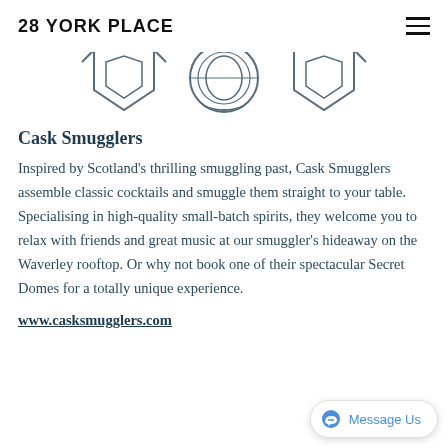28 YORK PLACE
[Figure (logo): Partial logo/emblem of Cask Smugglers showing circular and decorative elements in dark ink]
Cask Smugglers
Inspired by Scotland's thrilling smuggling past, Cask Smugglers assemble classic cocktails and smuggle them straight to your table. Specialising in high-quality small-batch spirits, they welcome you to relax with friends and great music at our smuggler's hideaway on the Waverley rooftop. Or why not book one of their spectacular Secret Domes for a totally unique experience.
www.casksmugglers.com